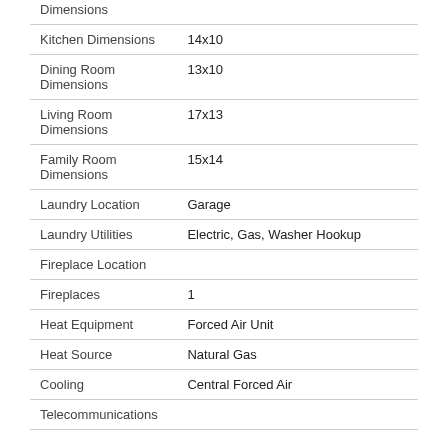| Property | Value |
| --- | --- |
| Dimensions |  |
| Kitchen Dimensions | 14x10 |
| Dining Room Dimensions | 13x10 |
| Living Room Dimensions | 17x13 |
| Family Room Dimensions | 15x14 |
| Laundry Location | Garage |
| Laundry Utilities | Electric, Gas, Washer Hookup |
| Fireplace Location |  |
| Fireplaces | 1 |
| Heat Equipment | Forced Air Unit |
| Heat Source | Natural Gas |
| Cooling | Central Forced Air |
| Telecommunications |  |